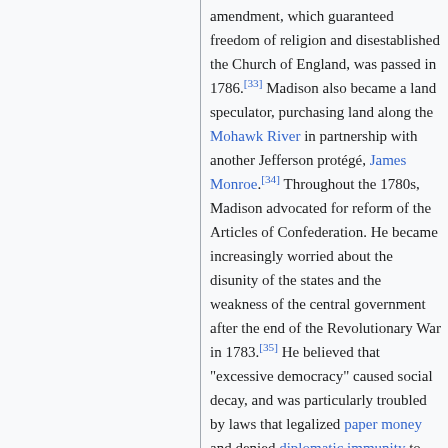amendment, which guaranteed freedom of religion and disestablished the Church of England, was passed in 1786.[33] Madison also became a land speculator, purchasing land along the Mohawk River in partnership with another Jefferson protégé, James Monroe.[34] Throughout the 1780s, Madison advocated for reform of the Articles of Confederation. He became increasingly worried about the disunity of the states and the weakness of the central government after the end of the Revolutionary War in 1783.[35] He believed that "excessive democracy" caused social decay, and was particularly troubled by laws that legalized paper money and denied diplomatic immunity to ambassadors from other countries.[36] He was also concerned about the inability of